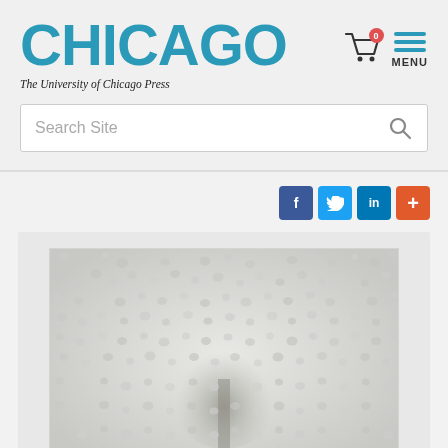[Figure (logo): University of Chicago Press logo — large bold teal CHICAGO text with italic subtitle 'The University of Chicago Press']
[Figure (screenshot): Navigation icons: shopping cart with red badge showing 0, and teal hamburger menu with MENU label]
[Figure (screenshot): Search bar with placeholder text 'Search Site' and a search magnifier icon]
[Figure (screenshot): Social sharing buttons: Facebook (blue f), Twitter (blue bird), LinkedIn (blue in), and orange plus button]
[Figure (photo): Book cover image showing a tree silhouette seen through glass covered in condensation or raindrops, giving a textured foggy appearance]